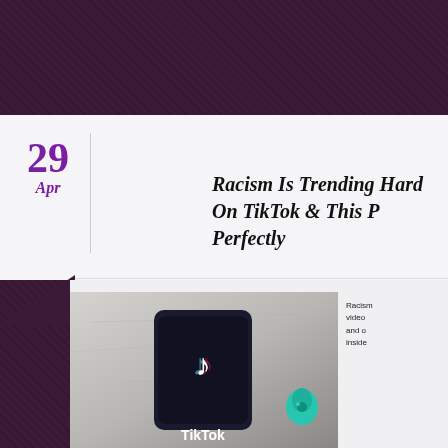Twitterrific
Racism Is Trending Hard On TikTok & This Perfectly
29 Apr
[Figure (photo): A smartphone showing the TikTok logo lying flat on a concrete surface, with a teal wireless earbud nearby. The word TikTok is visible at the bottom of the phone.]
Racism video and o inside